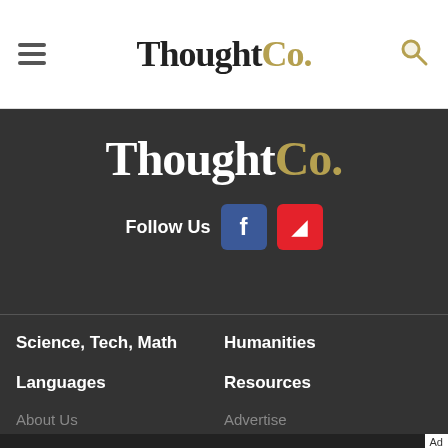ThoughtCo.
[Figure (logo): ThoughtCo. logo in white and gold on dark background]
Follow Us
Science, Tech, Math
Humanities
Languages
Resources
About Us
Advertise
We help people find answers, solve problems and get inspired. Dotdash meredith